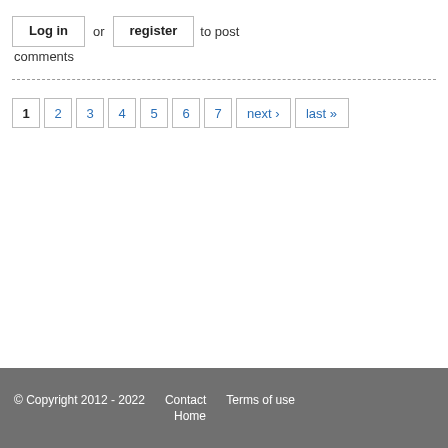Log in or register to post comments
------------------------------------------------------------
1 2 3 4 5 6 7 next › last »
© Copyright 2012 - 2022   Contact   Terms of use   Home